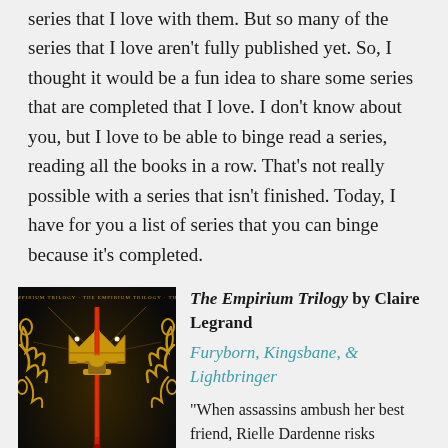series that I love with them. But so many of the series that I love aren't fully published yet. So, I thought it would be a fun idea to share some series that are completed that I love. I don't know about you, but I love to be able to binge read a series, reading all the books in a row. That's not really possible with a series that isn't finished. Today, I have for you a list of series that you can binge because it's completed.
[Figure (illustration): Book cover of Furyborn, The Empirium Trilogy Book 1 by Claire Legrand. Dark background with gold ornamental scrollwork, a crown, and a red-handled sword dripping blood.]
The Empirium Trilogy by Claire Legrand
Furyborn, Kingsbane, & Lightbringer
"When assassins ambush her best friend, Rielle Dardenne risks everything to save him, exposing herself as one of a